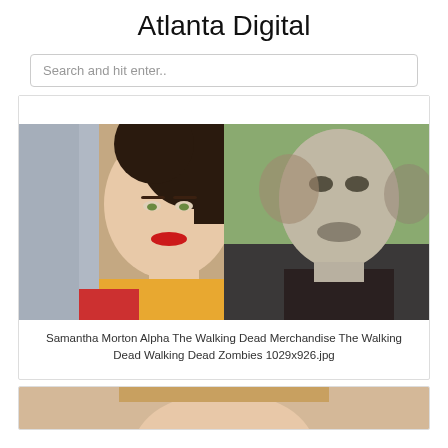Atlanta Digital
Search and hit enter..
[Figure (photo): Split photo: left side shows a woman with red lipstick and dark curly hair; right side shows a man with zombie makeup from The Walking Dead]
Samantha Morton Alpha The Walking Dead Merchandise The Walking Dead Walking Dead Zombies 1029x926.jpg
[Figure (photo): Partial photo visible at the bottom of the page, appears to show a person's face]